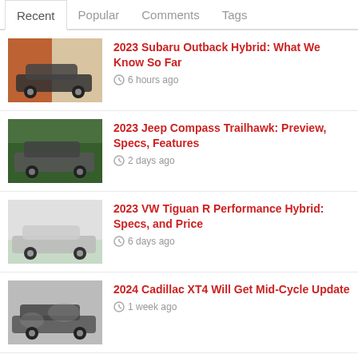Recent | Popular | Comments | Tags
2023 Subaru Outback Hybrid: What We Know So Far — 6 hours ago
2023 Jeep Compass Trailhawk: Preview, Specs, Features — 2 days ago
2023 VW Tiguan R Performance Hybrid: Specs, and Price — 6 days ago
2024 Cadillac XT4 Will Get Mid-Cycle Update — 1 week ago
2023 Subaru Ascent Redesign: Changes, Specs and Price — 2 weeks ago